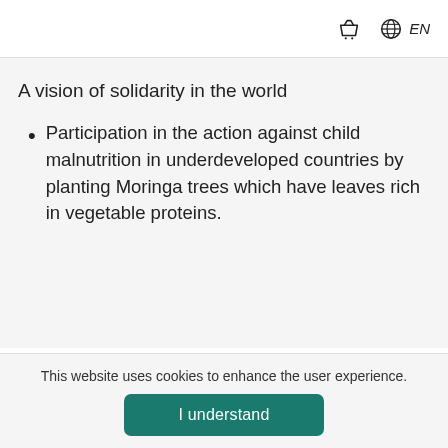🛒 🌐 EN
A vision of solidarity in the world
Participation in the action against child malnutrition in underdeveloped countries by planting Moringa trees which have leaves rich in vegetable proteins.
This website uses cookies to enhance the user experience.
I understand